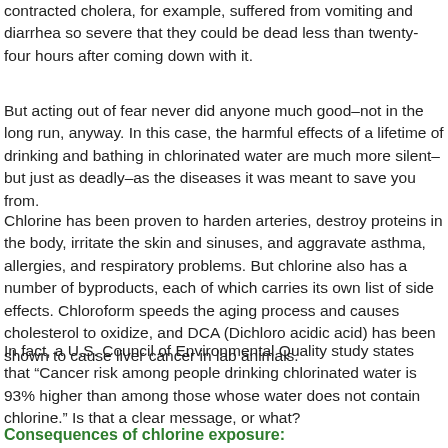contracted cholera, for example, suffered from vomiting and diarrhea so severe that they could be dead less than twenty-four hours after coming down with it.
But acting out of fear never did anyone much good–not in the long run, anyway. In this case, the harmful effects of a lifetime of drinking and bathing in chlorinated water are much more silent–but just as deadly–as the diseases it was meant to save you from.
Chlorine has been proven to harden arteries, destroy proteins in the body, irritate the skin and sinuses, and aggravate asthma, allergies, and respiratory problems. But chlorine also has a number of byproducts, each of which carries its own list of side effects. Chloroform speeds the aging process and causes cholesterol to oxidize, and DCA (Dichloro acidic acid) has been shown to cause liver cancer in lab animals.
In fact, a U.S. Council of Environmental Quality study states that “Cancer risk among people drinking chlorinated water is 93% higher than among those whose water does not contain chlorine.” Is that a clear message, or what?
Consequences of chlorine exposure: